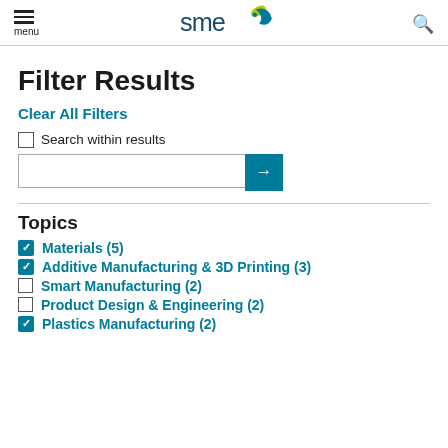menu | SME logo | search
Filter Results
Clear All Filters
Search within results
Topics
Materials (5)
Additive Manufacturing & 3D Printing (3)
Smart Manufacturing (2)
Product Design & Engineering (2)
Plastics Manufacturing (2)